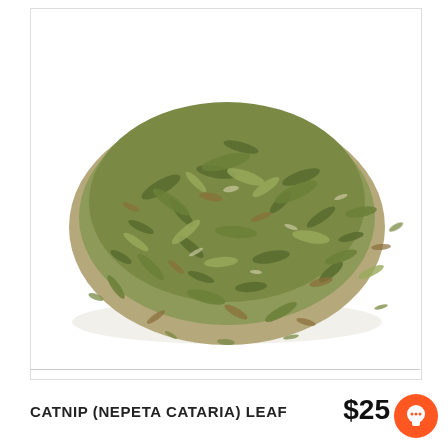[Figure (photo): A pile of dried catnip (Nepeta cataria) leaves, green and brown in color, arranged in a roughly circular mound on a white background.]
CATNIP (NEPETA CATARIA) LEAF
$25